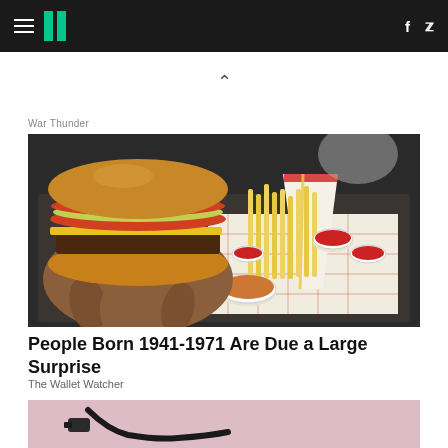HuffPost navigation bar with hamburger menu, logo, Facebook and Twitter icons
^
War Thunder
[Figure (photo): A hand holding a large burger with tomatoes and lettuce, with french fries, ketchup cups, and a sauce on a tray]
People Born 1941-1971 Are Due a Large Surprise
The Wallet Watcher
[Figure (photo): Partial view of a second photo showing a dark cable/cord on a blurred pinkish background]